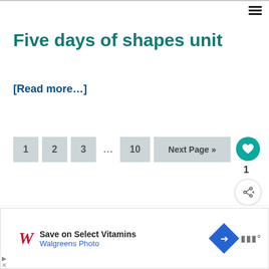Five days of shapes unit
[Read more…]
1  2  3  …  10  Next Page »
Exclusive Member of Mediavine Food
WHAT'S NEXT → Parachute games
Save on Select Vitamins Walgreens Photo